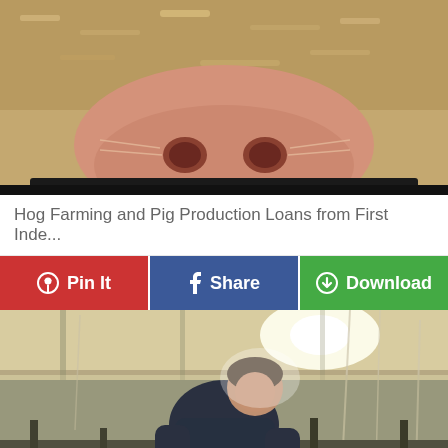[Figure (photo): Close-up photo of a pig's snout/nose with sawdust or feed material visible]
Hog Farming and Pig Production Loans from First Inde...
[Figure (infographic): Social sharing button bar with Pin It (red), Share (blue), Download (green) buttons]
[Figure (photo): Photo of a man in a dark shirt working inside a large hog farming facility with metal railings and hanging tubes/wires]